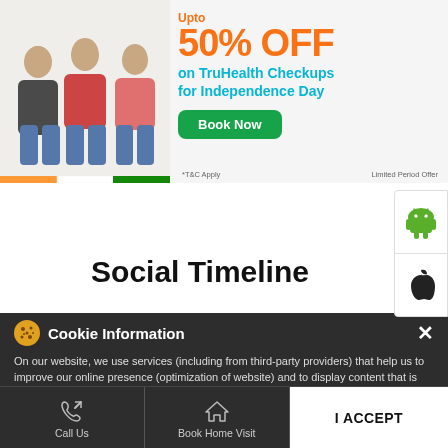[Figure (illustration): Banner advertisement showing a family (elderly man, woman, young woman) sitting together on white background with Indian flag stripe decoration. Text reads 'Upto 50% OFF on TruHealth Checkups for Independence Day' with a green 'Book Now' button. Small text: '*T&C Apply' and 'Limited Period Offer']
[Figure (other): Side panel with Android robot icon (green) and Apple logo icon (dark) for app download links]
Social Timeline
Cookie Information
On our website, we use services (including from third-party providers) that help us to improve our online presence (optimization of website) and to display content that is geared to their interests. We need your consent before being able to use these services.
Call Us
Book Home Visit
Directions
I ACCEPT